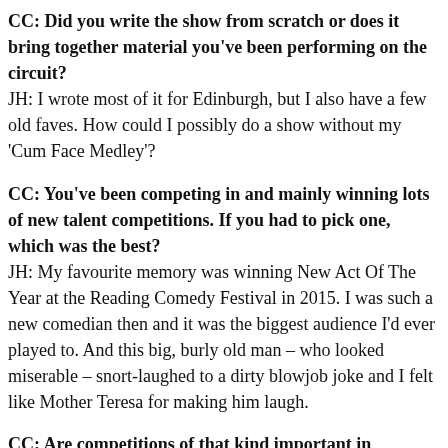CC: Did you write the show from scratch or does it bring together material you've been performing on the circuit?
JH: I wrote most of it for Edinburgh, but I also have a few old faves. How could I possibly do a show without my 'Cum Face Medley'?
CC: You've been competing in and mainly winning lots of new talent competitions. If you had to pick one, which was the best?
JH: My favourite memory was winning New Act Of The Year at the Reading Comedy Festival in 2015. I was such a new comedian then and it was the biggest audience I'd ever played to. And this big, burly old man – who looked miserable – snort-laughed to a dirty blowjob joke and I felt like Mother Teresa for making him laugh.
CC: Are competitions of that kind important in